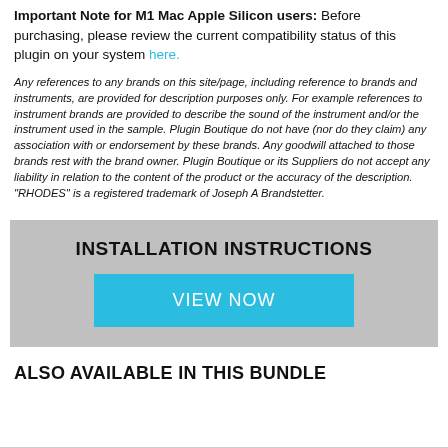Important Note for M1 Mac Apple Silicon users: Before purchasing, please review the current compatibility status of this plugin on your system here.
Any references to any brands on this site/page, including reference to brands and instruments, are provided for description purposes only. For example references to instrument brands are provided to describe the sound of the instrument and/or the instrument used in the sample. Plugin Boutique do not have (nor do they claim) any association with or endorsement by these brands. Any goodwill attached to those brands rest with the brand owner. Plugin Boutique or its Suppliers do not accept any liability in relation to the content of the product or the accuracy of the description. "RHODES" is a registered trademark of Joseph A Brandstetter.
INSTALLATION INSTRUCTIONS
VIEW NOW
ALSO AVAILABLE IN THIS BUNDLE